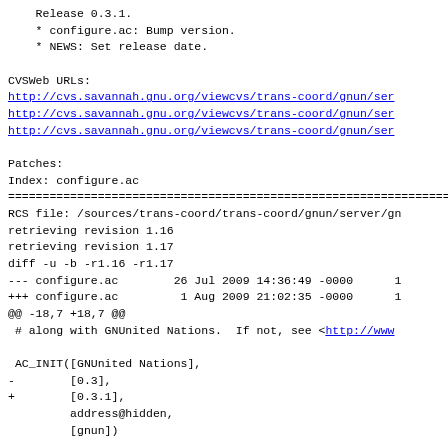Release 0.3.1.
    * configure.ac: Bump version.
    * NEWS: Set release date.
CVSWeb URLs:
http://cvs.savannah.gnu.org/viewcvs/trans-coord/gnun/ser
http://cvs.savannah.gnu.org/viewcvs/trans-coord/gnun/ser
http://cvs.savannah.gnu.org/viewcvs/trans-coord/gnun/ser
Patches:
Index: configure.ac
====================================================================
RCS file: /sources/trans-coord/trans-coord/gnun/server/gn
retrieving revision 1.16
retrieving revision 1.17
diff -u -b -r1.16 -r1.17
--- configure.ac        26 Jul 2009 14:36:49 -0000      1
+++ configure.ac         1 Aug 2009 21:02:35 -0000      1
@@ -18,7 +18,7 @@
 # along with GNUnited Nations.  If not, see <http://www

 AC_INIT([GNUnited Nations],
-        [0.3],
+        [0.3.1],
         address@hidden,
         [gnun])
Index: NEWS
====================================================================